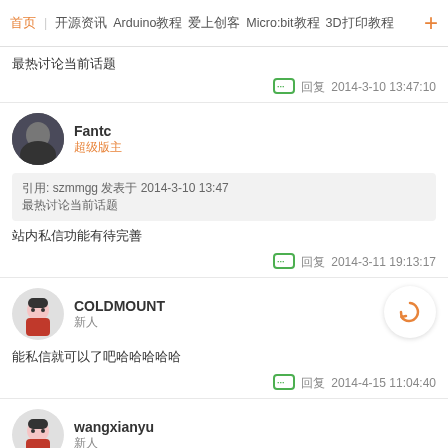首页 | 开源资讯 Arduino教程 爱上创客 Micro:bit教程 3D打印教程 +
最热讨论当前话题
💬 回复  2014-3-10 13:47:10
Fantc 超级版主
引用: szmmgg 发表于 2014-3-10 13:47 最热讨论当前话题
站内私信功能有待完善
💬 回复  2014-3-11 19:13:17
COLDMOUNT 新人
能私信就可以了吧哈哈哈哈哈
💬 回复  2014-4-15 11:04:40
wangxianyu 新人
能私信就可以了吧